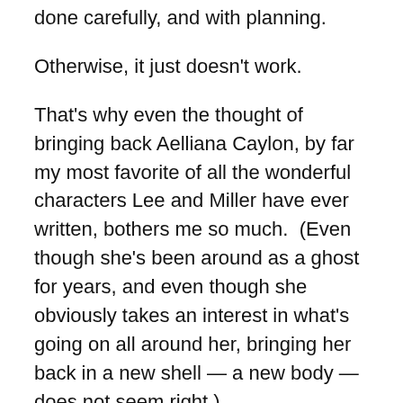done carefully, and with planning.
Otherwise, it just doesn't work.
That's why even the thought of bringing back Aelliana Caylon, by far my most favorite of all the wonderful characters Lee and Miller have ever written, bothers me so much.  (Even though she's been around as a ghost for years, and even though she obviously takes an interest in what's going on all around her, bringing her back in a new shell — a new body — does not seem right.)
Those two conscious author's decisions are why I don't like DRAGON SHIP and am most unlikely to ever re-read it.   And it's why I delayed writing my review until I had a full handle on exactly why I didn't like this book despite my admiration for the writing pair of Lee and Miller and for their creation the Liaden Universe in particular.